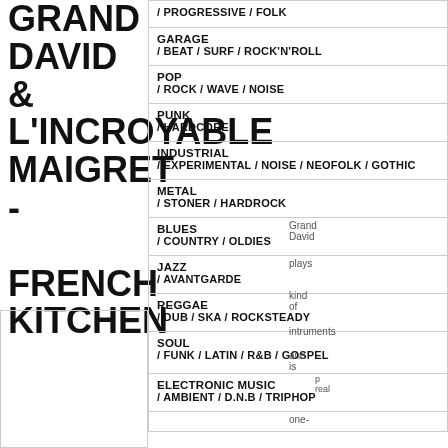GRAND DAVID & L'INCROYABLE MAIGRET - FRENCH KITCHEN
/ PROGRESSIVE / FOLK
GARAGE / BEAT / SURF / ROCK'N'ROLL
POP / ROCK / WAVE / NOISE
PUNK / HARDCORE
INDUSTRIAL / EXPERIMENTAL / NOISE / NEOFOLK / GOTHIC
METAL / STONER / HARDROCK
BLUES / COUNTRY / OLDIES
JAZZ / AVANTGARDE
REGGAE / DUB / SKA / ROCKSTEADY
SOUL / FUNK / LATIN / R&B / GOSPEL
ELECTRONIC MUSIC / AMBIENT / D.N.B / TRIPHOP
Grand David plays all kind of intruments and is real one-